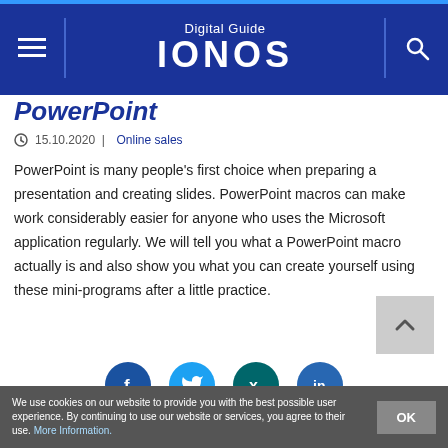Digital Guide IONOS
PowerPoint
15.10.2020  |  Online sales
PowerPoint is many people's first choice when preparing a presentation and creating slides. PowerPoint macros can make work considerably easier for anyone who uses the Microsoft application regularly. We will tell you what a PowerPoint macro actually is and also show you what you can create yourself using these mini-programs after a little practice.
[Figure (other): Social sharing buttons: Facebook, Twitter, Xing, LinkedIn]
We use cookies on our website to provide you with the best possible user experience. By continuing to use our website or services, you agree to their use. More Information.